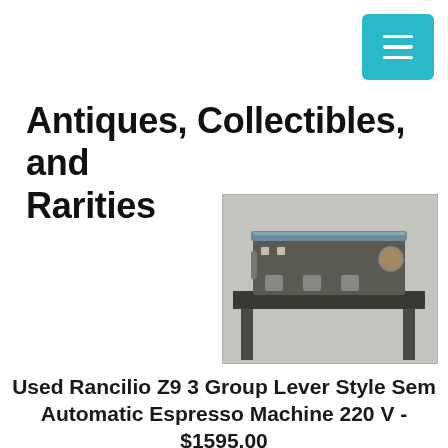Antiques, Collectibles, and Rarities
[Figure (photo): Photo of a used Rancilio Z9 3 Group Lever Style Semi Automatic Espresso Machine, industrial looking dark metal machine on a stand]
Used Rancilio Z9 3 Group Lever Style Semi Automatic Espresso Machine 220 V - $1595.00
Used Rancilio Z9 3 Group Lever Style Semi Automatic Espresso Machine 220 V
Used 220v 3 Group Semi-automatic Rancilio Z9. 1 Water Tap. Water Pump. New Part Installed In This Machine This Machine Is.